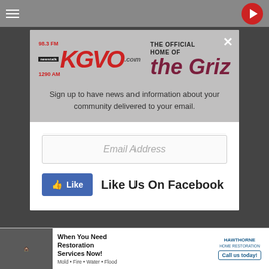[Figure (screenshot): Website background with gray overlay showing KGVO radio station webpage]
[Figure (logo): KGVO 98.3 FM Newstalk 1290 AM radio station logo with The Official Home of the Griz branding]
Sign up to have news and information about your community delivered to your email.
[Figure (screenshot): Email address input field with placeholder text 'Email Address']
[Figure (screenshot): Facebook Like button with 'Like Us On Facebook' text]
[Figure (screenshot): Advertisement banner for Hawthorne Home Restoration: 'When You Need Restoration Services Now! Mold + Fire + Water + Flood — Call us today!']